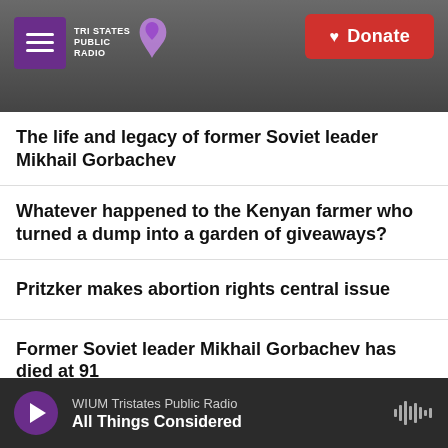Tri States Public Radio — Donate
The life and legacy of former Soviet leader Mikhail Gorbachev
Whatever happened to the Kenyan farmer who turned a dump into a garden of giveaways?
Pritzker makes abortion rights central issue
Former Soviet leader Mikhail Gorbachev has died at 91
Debt relief for Black farmers shows challenges of
WIUM Tristates Public Radio — All Things Considered